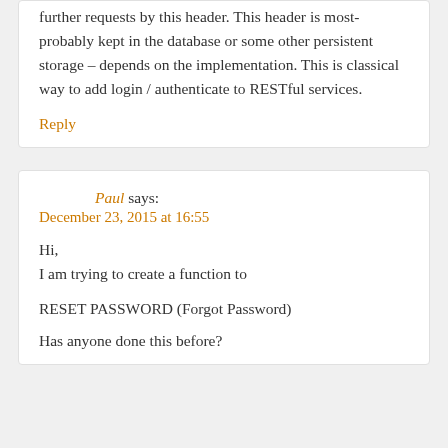further requests by this header. This header is most-probably kept in the database or some other persistent storage – depends on the implementation. This is classical way to add login / authenticate to RESTful services.
Reply
Paul says:
December 23, 2015 at 16:55
Hi,
I am trying to create a function to
RESET PASSWORD (Forgot Password)
Has anyone done this before?